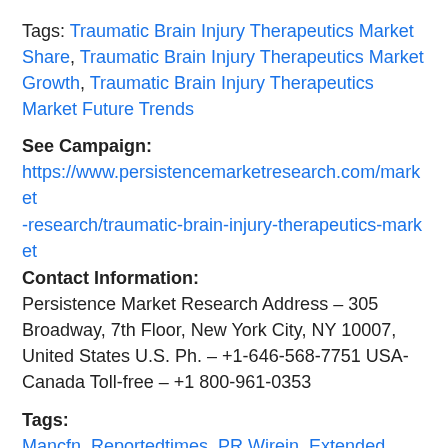Tags: Traumatic Brain Injury Therapeutics Market Share, Traumatic Brain Injury Therapeutics Market Growth, Traumatic Brain Injury Therapeutics Market Future Trends
See Campaign:
https://www.persistencemarketresearch.com/market-research/traumatic-brain-injury-therapeutics-market
Contact Information:
Persistence Market Research Address – 305 Broadway, 7th Floor, New York City, NY 10007, United States U.S. Ph. – +1-646-568-7751 USA-Canada Toll-free – +1 800-961-0353
Tags:
Mancfn, Reportedtimes, PR Wirein, Extended...